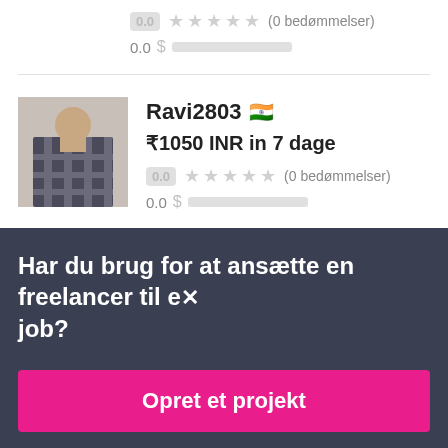0.0 ★★★★★ (0 bedømmelser)
0.0 $░░░░░░░░░
[Figure (photo): Profile photo of user Ravi2803, showing a person wearing a checked shirt]
Ravi2803 🇮🇳
₹1050 INR in 7 dage
0.0 ★★★★★ (0 bedømmelser)
0.0 $░░░░░░░░░
Har du brug for at ansætte en freelancer til et job?
Opret et projekt